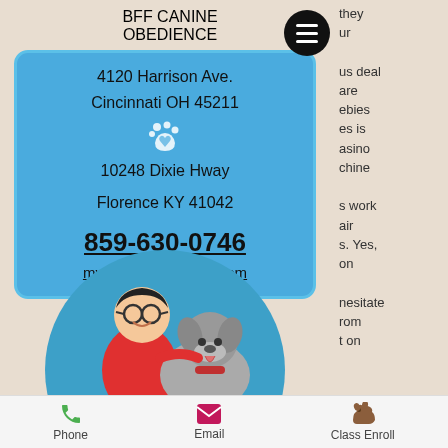BFF CANINE OBEDIENCE
4120 Harrison Ave.
Cincinnati OH 45211
10248 Dixie Hway
Florence KY 41042
859-630-0746
mybffcanine@gmail.com
[Figure (illustration): Cartoon illustration of a smiling person with glasses wearing a red shirt, posing with a grey dog, inside a blue circle]
they ur us deal are ebies es is asino chine s work air s. Yes, on nesitate rom t on
Phone  Email  Class Enroll